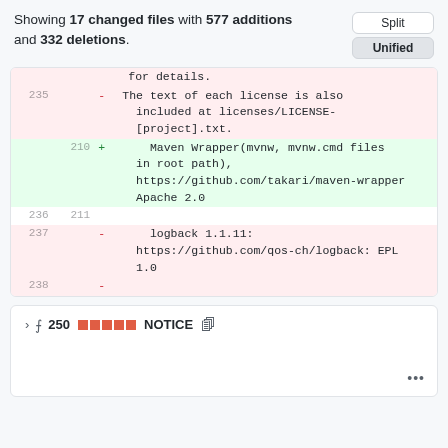Showing 17 changed files with 577 additions and 332 deletions.
[Figure (screenshot): Split/Unified toggle buttons]
| old | new | sign | content |
| --- | --- | --- | --- |
|  |  |  | for details. |
| 235 |  | - | The text of each license is also included at licenses/LICENSE-[project].txt. |
|  | 210 | + | Maven Wrapper(mvnw, mvnw.cmd files in root path), https://github.com/takari/maven-wrapper Apache 2.0 |
| 236 | 211 |  |  |
| 237 |  | - | logback 1.1.11: https://github.com/qos-ch/logback: EPL 1.0 |
| 238 |  | - |  |
v ⊕ 250 ■■■■■ NOTICE 🗐